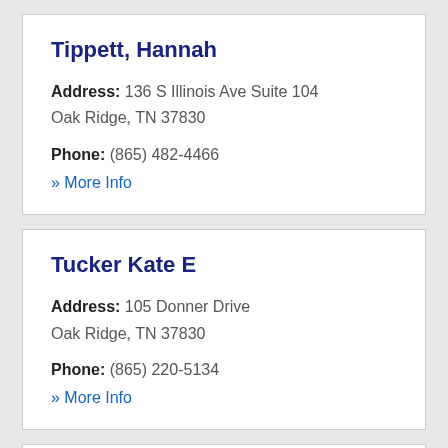Tippett, Hannah
Address: 136 S Illinois Ave Suite 104
Oak Ridge, TN 37830
Phone: (865) 482-4466
» More Info
Tucker Kate E
Address: 105 Donner Drive
Oak Ridge, TN 37830
Phone: (865) 220-5134
» More Info
Whitfield, Judith R